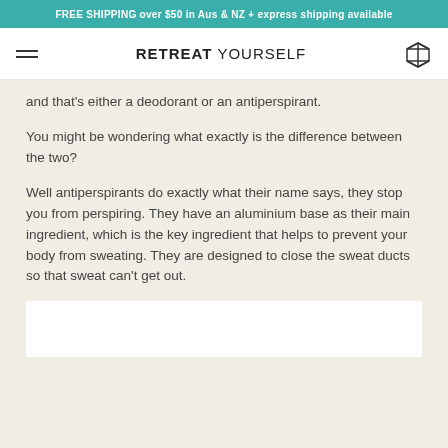FREE SHIPPING over $50 in Aus & NZ + express shipping available
RETREAT YOURSELF
and that's either a deodorant or an antiperspirant.
You might be wondering what exactly is the difference between the two?
Well antiperspirants do exactly what their name says, they stop you from perspiring. They have an aluminium base as their main ingredient, which is the key ingredient that helps to prevent your body from sweating. They are designed to close the sweat ducts so that sweat can't get out.
[Figure (photo): White/light colored image box partially visible at bottom of page]